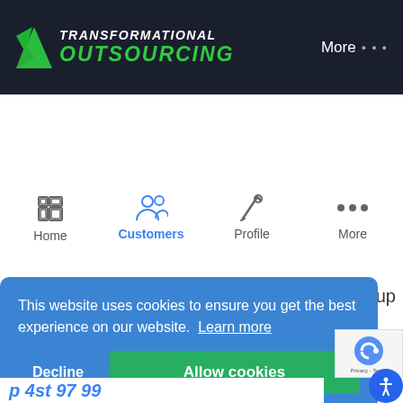TRANSFORMATIONAL OUTSOURCING
[Figure (screenshot): Navigation bar with icons for Home, Customers (active), Profile, and More]
This website uses cookies to ensure you get the best experience on our website. Learn more
Decline | Allow cookies